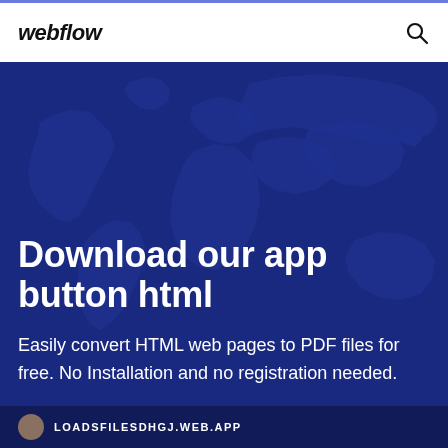webflow
[Figure (illustration): World map silhouette on dark blue background used as hero section background]
Download our app button html
Easily convert HTML web pages to PDF files for free. No Installation and no registration needed.
LOADSFILESDHGJ.WEB.APP